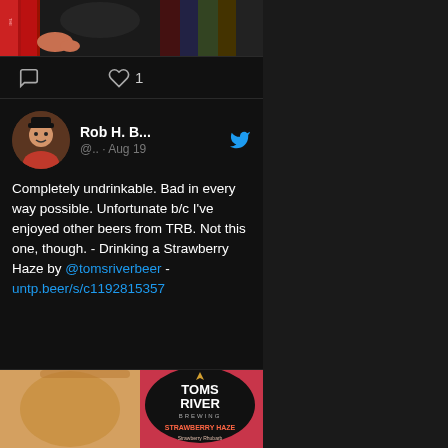[Figure (photo): Top portion of a photo showing books and what appears to be a hand holding something, partially visible at the top of the screen]
[Figure (infographic): Social media interaction bar with comment icon and heart/like icon showing count of 1]
[Figure (screenshot): Tweet from Rob H. B... (@.. · Aug 19) with Twitter bird icon. Text: Completely undrinkable. Bad in every way possible. Unfortunate b/c I've enjoyed other beers from TRB. Not this one, though. - Drinking a Strawberry Haze by @tomsriverbeer - untp.beer/s/c1192815357]
[Figure (photo): Photo of a beer glass with Toms River Brewing Strawberry Haze can/label visible. The beer appears hazy/orange colored. Label reads TOMS RIVER BREWING STRAWBERRY HAZE Strawberry Rhubarb Milkshake India Pale Ale]